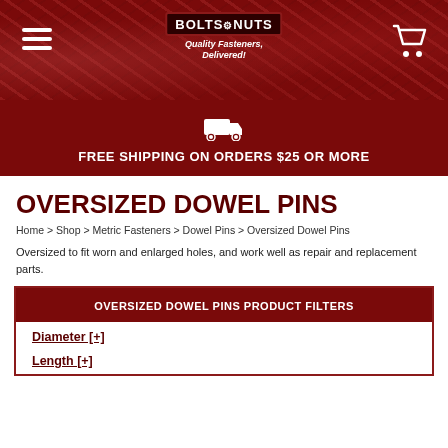Bolts and Nuts — Quality Fasteners, Delivered!
FREE SHIPPING ON ORDERS $25 OR MORE
OVERSIZED DOWEL PINS
Home > Shop > Metric Fasteners > Dowel Pins > Oversized Dowel Pins
Oversized to fit worn and enlarged holes, and work well as repair and replacement parts.
OVERSIZED DOWEL PINS PRODUCT FILTERS
Diameter [+]
Length [+]